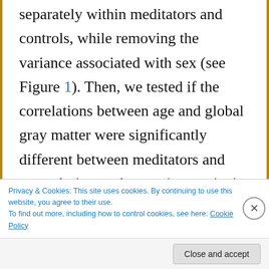separately within meditators and controls, while removing the variance associated with sex (see Figure 1). Then, we tested if the correlations between age and global gray matter were significantly different between meditators and controls (group-by-age interaction), again, while co-varying for sex. All statistical analyses pertaining to global gray matter were conducted in Matlab using the Statistics Toolbox
Privacy & Cookies: This site uses cookies. By continuing to use this website, you agree to their use.
To find out more, including how to control cookies, see here: Cookie Policy
Close and accept